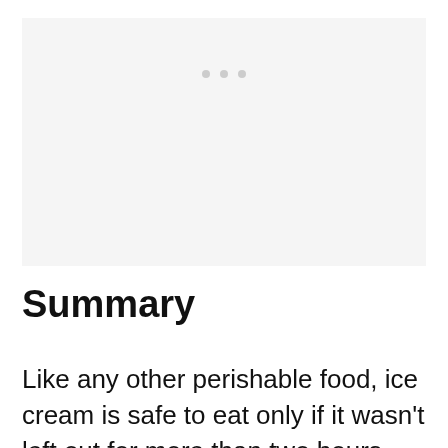[Figure (other): Image placeholder with three small dots visible near the top center on a light gray background]
Summary
Like any other perishable food, ice cream is safe to eat only if it wasn't left out for more than two hours, according to the safety